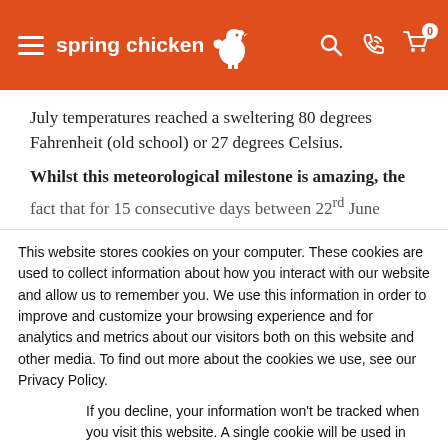spring chicken [logo with navigation icons: search, phone, cart(0)]
July temperatures reached a sweltering 80 degrees Fahrenheit (old school) or 27 degrees Celsius.
Whilst this meteorological milestone is amazing, the fact that for 15 consecutive days between 22rd June
This website stores cookies on your computer. These cookies are used to collect information about how you interact with our website and allow us to remember you. We use this information in order to improve and customize your browsing experience and for analytics and metrics about our visitors both on this website and other media. To find out more about the cookies we use, see our Privacy Policy.
If you decline, your information won't be tracked when you visit this website. A single cookie will be used in your browser to remember your preference not to be tracked.